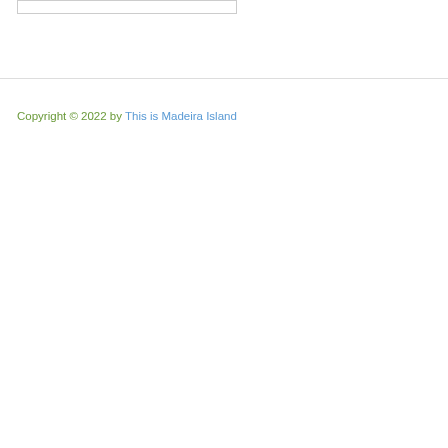Copyright © 2022 by This is Madeira Island